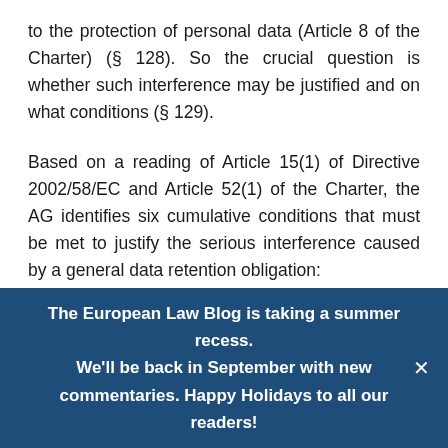to the protection of personal data (Article 8 of the Charter) (§ 128). So the crucial question is whether such interference may be justified and on what conditions (§ 129).
Based on a reading of Article 15(1) of Directive 2002/58/EC and Article 52(1) of the Charter, the AG identifies six cumulative conditions that must be met to justify the serious interference caused by a general data retention obligation:
The European Law Blog is taking a summer recess. We'll be back in September with new commentaries. Happy Holidays to all our readers!